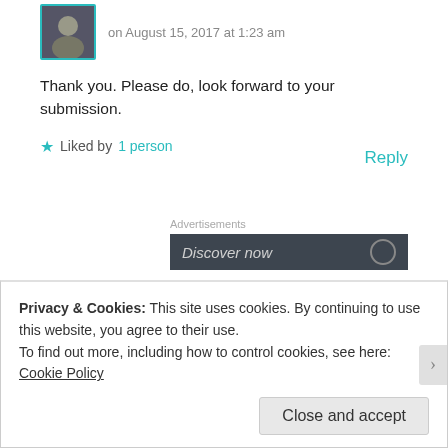on August 15, 2017 at 1:23 am
Thank you. Please do, look forward to your submission.
★ Liked by 1 person
Reply
Advertisements
[Figure (other): Dark advertisement banner with text 'Discover now' and a circular element on right]
Darque Dreamer Reads
Privacy & Cookies: This site uses cookies. By continuing to use this website, you agree to their use.
To find out more, including how to control cookies, see here:
Cookie Policy
Close and accept